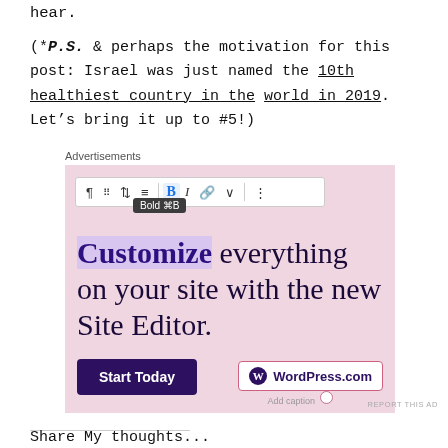hear.
(*P.S. & perhaps the motivation for this post: Israel was just named the 10th healthiest country in the world in 2019. Let's bring it up to #5!)
[Figure (screenshot): WordPress.com advertisement screenshot showing a toolbar with Bold button highlighted, tooltip 'Bold ⌘B', ad text 'Customize everything on your site with the new Site Editor.', a 'Start Today' button, WordPress.com logo badge, and 'Add caption' text. Above the ad box is an 'Advertisements' label.]
REPORT THIS AD
Share Mu t houg s